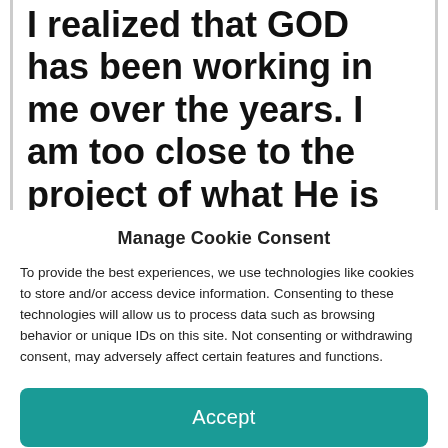I realized that GOD has been working in me over the years. I am too close to the project of what He is doing. Evidently, they see some of the masterpiece that GOD is
Manage Cookie Consent
To provide the best experiences, we use technologies like cookies to store and/or access device information. Consenting to these technologies will allow us to process data such as browsing behavior or unique IDs on this site. Not consenting or withdrawing consent, may adversely affect certain features and functions.
Accept